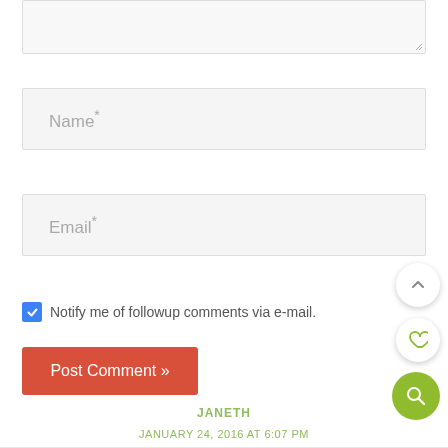[Figure (screenshot): Textarea input field (partially visible at top)]
Name*
Email*
Notify me of followup comments via e-mail.
Post Comment »
JANETH
JANUARY 24, 2016 AT 6:07 PM